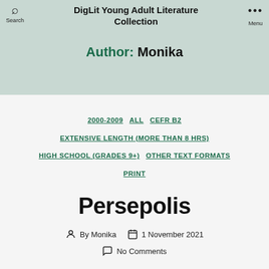DigLit Young Adult Literature Collection
Author: Monika
2000-2009  ALL  CEFR B2  EXTENSIVE LENGTH (MORE THAN 8 HRS)  HIGH SCHOOL (GRADES 9+)  OTHER TEXT FORMATS  PRINT
Persepolis
By Monika   1 November 2021   No Comments